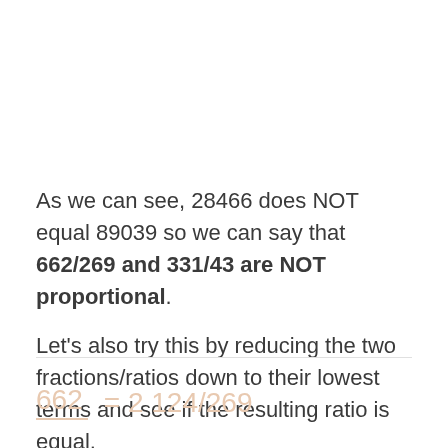As we can see, 28466 does NOT equal 89039 so we can say that 662/269 and 331/43 are NOT proportional.
Let's also try this by reducing the two fractions/ratios down to their lowest terms and see if the resulting ratio is equal.